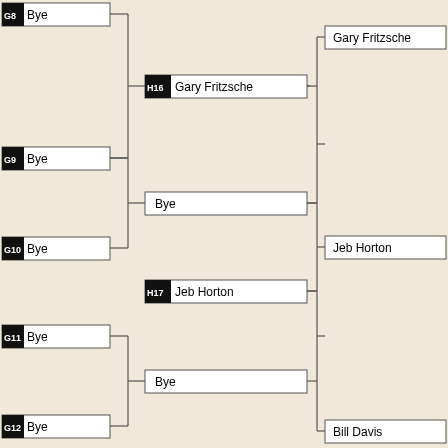[Figure (flowchart): Tournament bracket showing match progression. G8 Bye, G9 Bye -> Bye -> Gary Fritzsche via H16 Gary Fritzsche. G9 Bye, G10 Bye -> Bye -> Jeb Horton via H17 Jeb Horton. G11 Bye, G12 Bye -> Bye -> Bill Davis via H18 Bill Davis. G13 Bye, G14 Bye -> Bye -> Claude Landry via H19 Claude Landry. G15 Bye partial.]